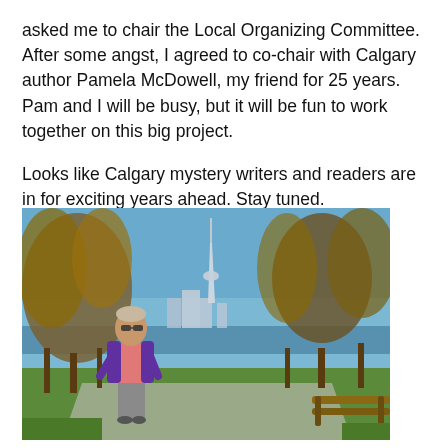asked me to chair the Local Organizing Committee. After some angst, I agreed to co-chair with Calgary author Pamela McDowell, my friend for 25 years. Pam and I will be busy, but it will be fun to work together on this big project.
Looks like Calgary mystery writers and readers are in for exciting years ahead. Stay tuned.
[Figure (photo): A woman wearing sunglasses, a purple jacket and pink top stands on a grassy path. Trees with autumn foliage surround her, and a city skyline with a tall tower (CN Tower) is visible in the background under a clear blue sky. A wooden bench is partially visible on the right.]